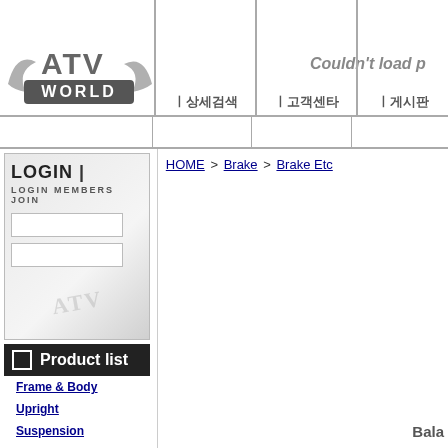[Figure (logo): ATV WORLD logo with stylized text and swoosh graphics]
| 상세검색
| 고객센타
| 게시판
Couldn't load p
[Figure (screenshot): Login box with LOGIN text, LOGIN MEMBERS JOIN subtext, and two input fields]
Product list
Frame & Body
Upright
Suspension
Steering
Brake
Power Train
Electric
Engine Parts
HOME > Brake > Brake Etc
Bala